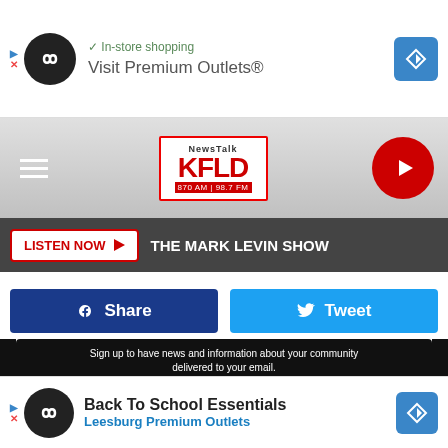[Figure (screenshot): Top advertisement banner with AdChoices icon, infinity logo circle, checkmark 'In-store shopping', 'Visit Premium Outlets®' text, and blue diamond arrow icon]
[Figure (logo): NewsTalk KFLD 870 AM | 98.7 FM radio station logo with navigation hamburger menu and red play button]
LISTEN NOW ▶  THE MARK LEVIN SHOW
Share   Tweet
Sign up to have news and information about your community delivered to your email.
Email Address
Like Us On Facebook
[Figure (screenshot): Bottom advertisement banner: 'Back To School Essentials' / 'Leesburg Premium Outlets' with AdChoices and arrow icons]